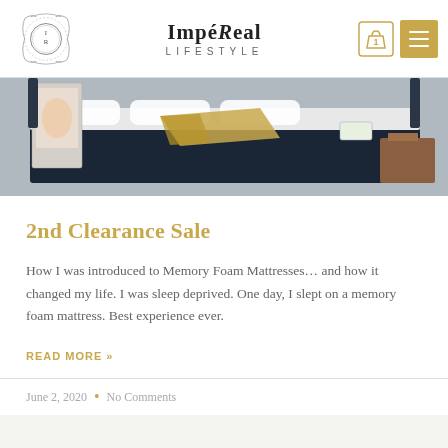ImpéReal Lifestyle
[Figure (photo): Showroom photo of a mattress on a bed frame with yellow/gold throw blanket and a poster in the background]
2nd Clearance Sale
How I was introduced to Memory Foam Mattresses… and how it changed my life. I was sleep deprived. One day, I slept on a memory foam mattress. Best experience ever.
READ MORE »
June 2, 2020  •  No Comments